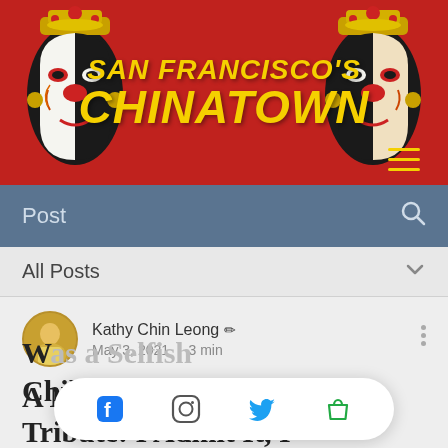[Figure (logo): San Francisco's Chinatown website header with red background, two Chinese opera masks on left and right, and bold yellow italic text reading SAN FRANCISCO'S CHINATOWN in the center]
Post
All Posts
Kathy Chin Leong ✏ May 3, 2021 · 3 min
A Mother's Day Tribute: I Admit It, I Was a Selfish Child...
[Figure (infographic): Mobile bottom navigation bar with Facebook, Instagram, Twitter, and shopping bag icons on white pill-shaped background]